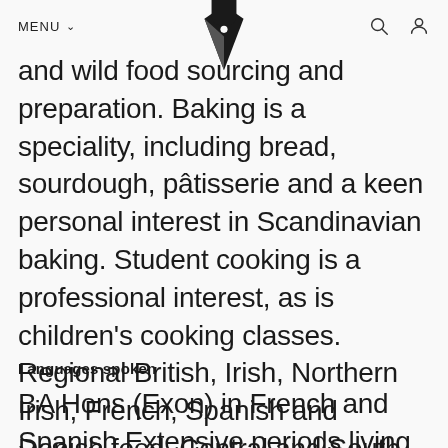MENU
and wild food sourcing and preparation. Baking is a speciality, including bread, sourdough, pâtisserie and a keen personal interest in Scandinavian baking. Student cooking is a professional interest, as is children's cooking classes. Regional British, Irish, Northern Irish, French, Spanish and Danish food. Central and South American food are areas of great personal interest.
Languages spoken
BA Hons (Exon) in French and Spanish Extensive periods living in France, Spain,